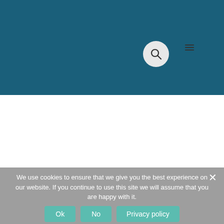[Figure (screenshot): Dark teal/blue header background with two circular icon buttons: a search (magnifying glass) icon and a hamburger menu icon, both on light grey circular backgrounds]
We use cookies to ensure that we give you the best experience on our website. If you continue to use this site we will assume that you are happy with it.
Ok   No   Privacy policy